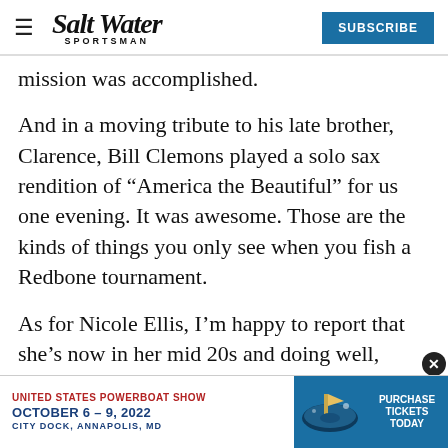Salt Water Sportsman — SUBSCRIBE
mission was accomplished.
And in a moving tribute to his late brother, Clarence, Bill Clemons played a solo sax rendition of “America the Beautiful” for us one evening. It was awesome. Those are the kinds of things you only see when you fish a Redbone tournament.
As for Nicole Ellis, I’m happy to report that she’s now in her mid 20s and doing well, thanks in no small part to the work of her brothers and sisters and more, beca— [text cut off by ad]
[Figure (other): Banner advertisement for United States Powerboat Show, October 6-9, 2022, City Dock, Annapolis, MD with Purchase Tickets Today button]